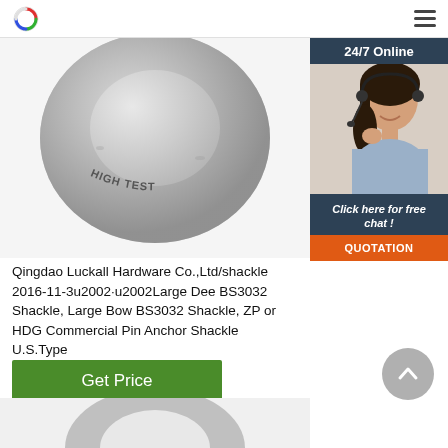Logo and navigation menu
[Figure (photo): Close-up photo of a metal shackle ring stamped with HIGH TEST]
[Figure (photo): 24/7 Online chat widget with photo of female customer service representative wearing headset, Click here for free chat, QUOTATION button]
Qingdao Luckall Hardware Co.,Ltd/shackle 2016-11-3u2002·u2002Large Dee BS3032 Shackle, Large Bow BS3032 Shackle, ZP or HDG Commercial Pin Anchor Shackle U.S.Type
[Figure (other): Get Price green button]
[Figure (other): Scroll to top circular button with upward chevron]
[Figure (photo): Partial bottom product image of another metal shackle]